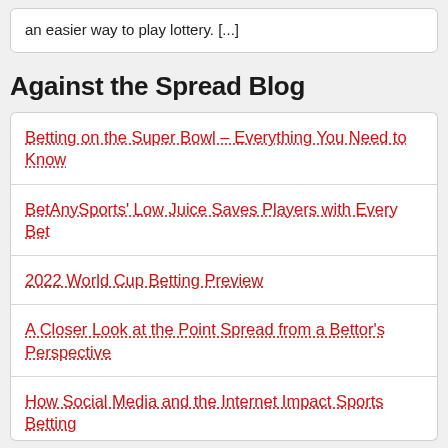an easier way to play lottery. [...]
Against the Spread Blog
Betting on the Super Bowl – Everything You Need to Know
BetAnySports' Low Juice Saves Players with Every Bet
2022 World Cup Betting Preview
A Closer Look at the Point Spread from a Bettor's Perspective
How Social Media and the Internet Impact Sports Betting